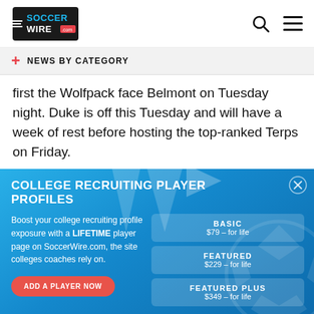SoccerWire.com
+ NEWS BY CATEGORY
first the Wolfpack face Belmont on Tuesday night. Duke is off this Tuesday and will have a week of rest before hosting the top-ranked Terps on Friday.
COLLEGE RECRUITING PLAYER PROFILES
Boost your college recruiting profile exposure with a LIFETIME player page on SoccerWire.com, the site colleges coaches rely on.
| Tier | Price |
| --- | --- |
| BASIC | $79 – for life |
| FEATURED | $229 – for life |
| FEATURED PLUS | $349 – for life |
ADD A PLAYER NOW